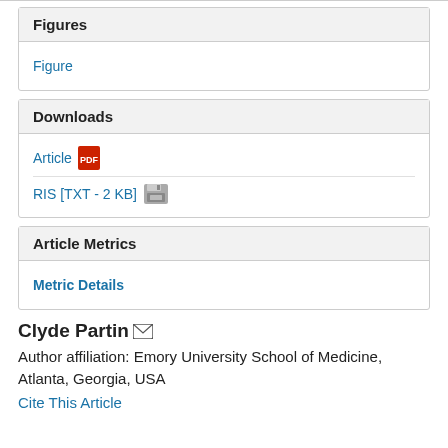Figures
Figure
Downloads
Article
RIS [TXT - 2 KB]
Article Metrics
Metric Details
Clyde Partin
Author affiliation: Emory University School of Medicine, Atlanta, Georgia, USA
Cite This Article